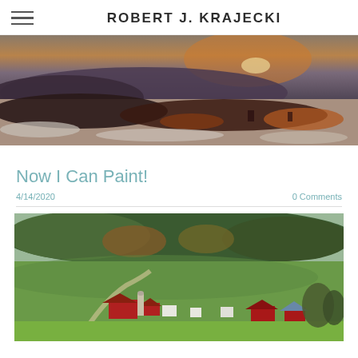ROBERT J. KRAJECKI
[Figure (illustration): Wide horizontal painting of a dramatic landscape with stormy orange and purple sky, dark foreground land masses, and snow or light patches — a plein air or watercolor style artwork.]
Now I Can Paint!
4/14/2020
0 Comments
[Figure (photo): Aerial or elevated photograph of a rural farm scene with red barns, white outbuildings, green fields, and autumn-colored trees on rolling hills in the background.]